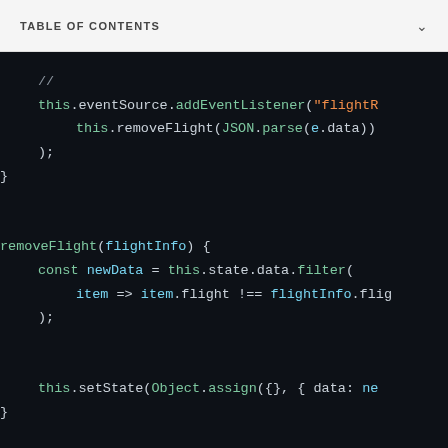TABLE OF CONTENTS
[Figure (screenshot): Dark-themed code editor screenshot showing JavaScript class methods: addEventListener for flightRemoved event calling this.removeFlight(JSON.parse(e.data)), and removeFlight(flightInfo) method using Array.filter and setState. Bottom comment: // ... render, updateFlightState ...]